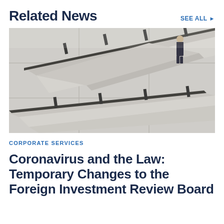Related News
SEE ALL ▶
[Figure (photo): Black and white / desaturated photo of a man in a suit walking up a wide concrete staircase with angular handrails, viewed from below at an architectural angle.]
CORPORATE SERVICES
Coronavirus and the Law: Temporary Changes to the Foreign Investment Review Board